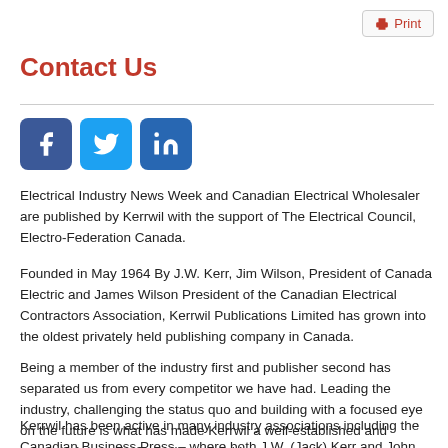Print
Contact Us
[Figure (other): Social media icons: Facebook, Twitter, LinkedIn]
Electrical Industry News Week and Canadian Electrical Wholesaler are published by Kerrwil with the support of The Electrical Council, Electro-Federation Canada.
Founded in May 1964 By J.W. Kerr, Jim Wilson, President of Canada Electric and James Wilson President of the Canadian Electrical Contractors Association, Kerrwil Publications Limited has grown into the oldest privately held publishing company in Canada.
Being a member of the industry first and publisher second has separated us from every competitor we have had. Leading the industry, challenging the status quo and building with a focused eye on the future is what has made Kerrwil a well-established and respected name in Canadian publishing community.
Kerrwil has been active in many industry associations including the Canadian Business Press – where both J.W. (Jack) Kerr and John